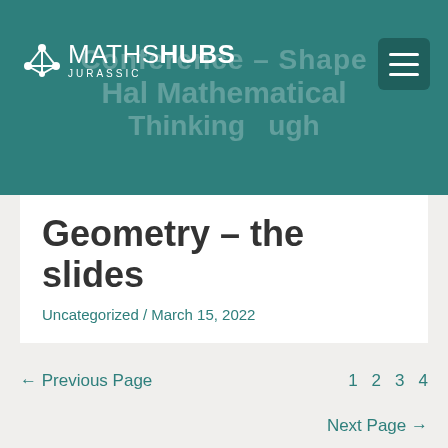[Figure (logo): Maths Hubs Jurassic logo with network icon on teal header background with watermark text 'Conference – Shape Hal Mathematical Thinking through']
Geometry – the slides
Uncategorized / March 15, 2022
There is no excerpt because this is a protected post.
← Previous Page   1   2   3   4   Next Page →